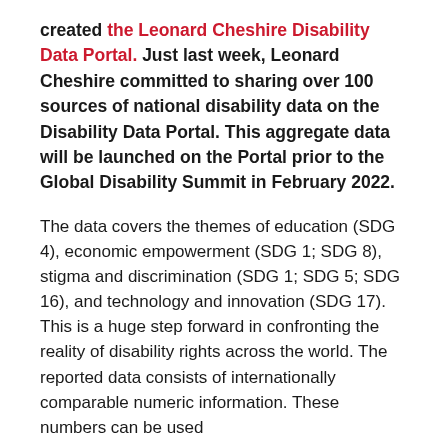created the Leonard Cheshire Disability Data Portal. Just last week, Leonard Cheshire committed to sharing over 100 sources of national disability data on the Disability Data Portal. This aggregate data will be launched on the Portal prior to the Global Disability Summit in February 2022.
The data covers the themes of education (SDG 4), economic empowerment (SDG 1; SDG 8), stigma and discrimination (SDG 1; SDG 5; SDG 16), and technology and innovation (SDG 17). This is a huge step forward in confronting the reality of disability rights across the world. The reported data consists of internationally comparable numeric information. These numbers can be used